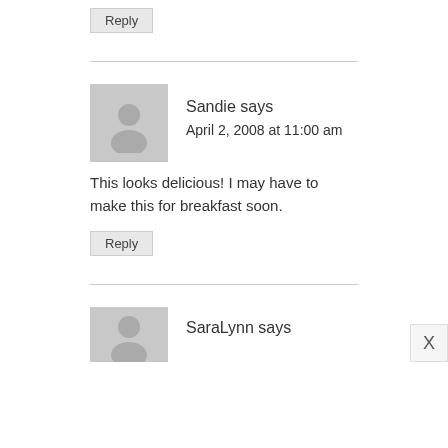Reply
Sandie says
April 2, 2008 at 11:00 am
This looks delicious! I may have to make this for breakfast soon.
Reply
SaraLynn says